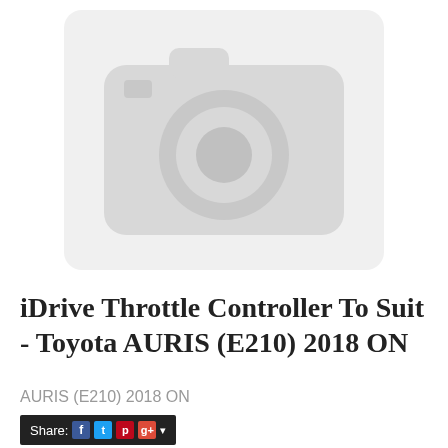[Figure (other): Placeholder image with camera icon on light gray background, indicating no product image available]
iDrive Throttle Controller To Suit - Toyota AURIS (E210) 2018 ON
AURIS (E210) 2018 ON
Share: [Facebook] [Twitter] [Pinterest] [Google+] ▾